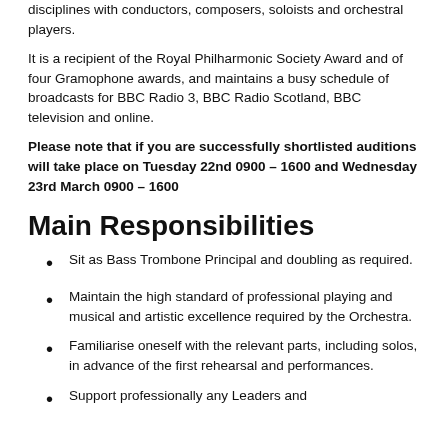disciplines with conductors, composers, soloists and orchestral players.
It is a recipient of the Royal Philharmonic Society Award and of four Gramophone awards, and maintains a busy schedule of broadcasts for BBC Radio 3, BBC Radio Scotland, BBC television and online.
Please note that if you are successfully shortlisted auditions will take place on Tuesday 22nd 0900 – 1600 and Wednesday 23rd March 0900 – 1600
Main Responsibilities
Sit as Bass Trombone Principal and doubling as required.
Maintain the high standard of professional playing and musical and artistic excellence required by the Orchestra.
Familiarise oneself with the relevant parts, including solos, in advance of the first rehearsal and performances.
Support professionally any Leaders and